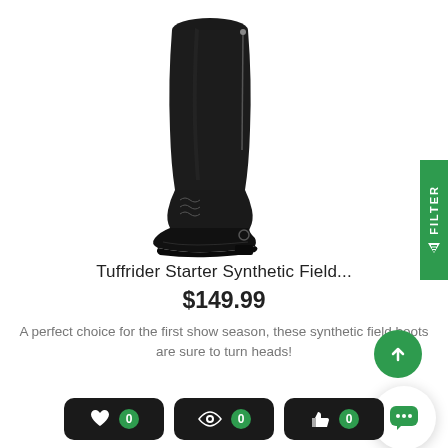[Figure (photo): Black tall synthetic field boot (riding boot) shown standing upright against a white background]
Tuffrider Starter Synthetic Field...
$149.99
A perfect choice for the first show season, these synthetic field boots are sure to turn heads!
[Figure (other): Three action buttons at bottom: heart/favorite (0), eye/view (0), thumbs up/like (0) — each on black rounded rectangle with green circle showing count 0]